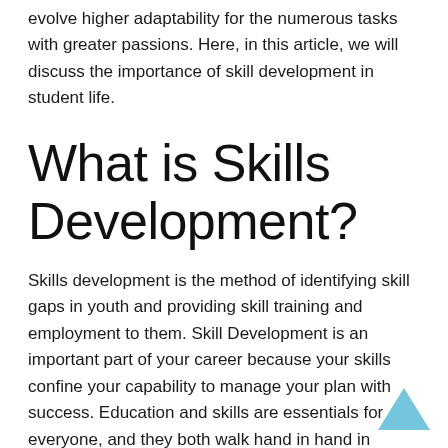evolve higher adaptability for the numerous tasks with greater passions. Here, in this article, we will discuss the importance of skill development in student life.
What is Skills Development?
Skills development is the method of identifying skill gaps in youth and providing skill training and employment to them. Skill Development is an important part of your career because your skills confine your capability to manage your plan with success. Education and skills are essentials for everyone, and they both walk hand in hand in everyone's professional journey. In any student's life without skill, you will only dishearten yourself